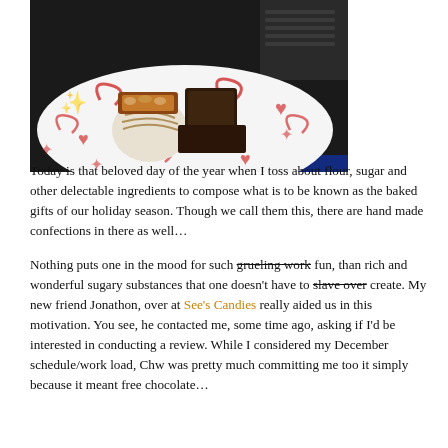[Figure (photo): Photograph of chocolate candies on a white plate with red floral design, next to a laptop keyboard]
Today is that beloved day of the year when I toss about flour, sugar and other delectable ingredients to compose what is to be known as the baked gifts of our holiday season. Though we call them this, there are hand made confections in there as well…

Nothing puts one in the mood for such grueling work fun, than rich and wonderful sugary substances that one doesn't have to slave over create. My new friend Jonathon, over at See's Candies really aided us in this motivation. You see, he contacted me, some time ago, asking if I'd be interested in conducting a review. While I considered my December schedule/work load, Chw was pretty much committing me too it simply because it meant free chocolate…